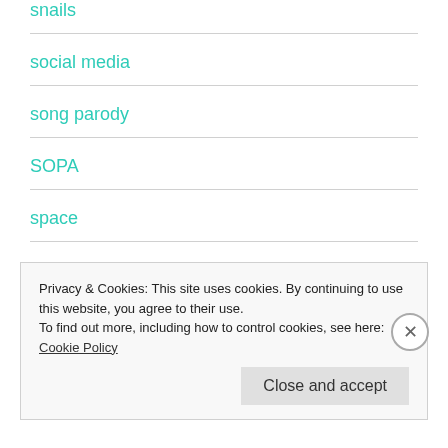snails
social media
song parody
SOPA
space
spirituality
Privacy & Cookies: This site uses cookies. By continuing to use this website, you agree to their use.
To find out more, including how to control cookies, see here: Cookie Policy
Close and accept